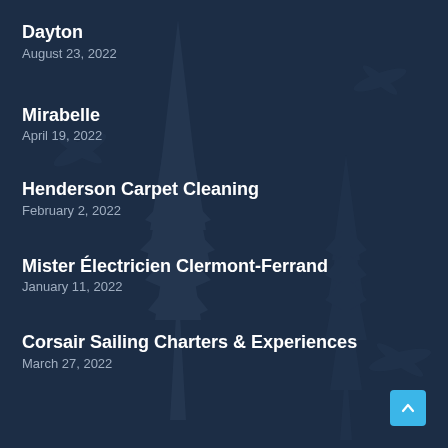Dayton
August 23, 2022
Mirabelle
April 19, 2022
Henderson Carpet Cleaning
February 2, 2022
Mister Électricien Clermont-Ferrand
January 11, 2022
Corsair Sailing Charters & Experiences
March 27, 2022